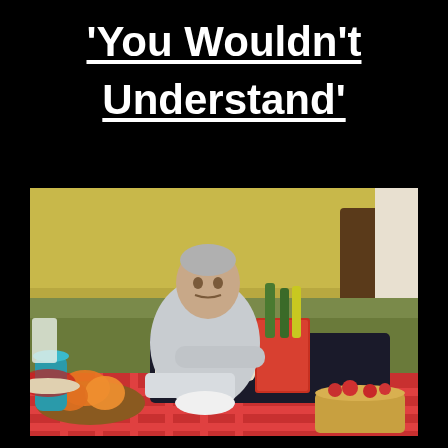'You Wouldn't Understand'
[Figure (photo): A middle-aged man in light grey/white sweatsuit sitting on the ground outdoors at a picnic setting, leaning against a dark sofa with a red book, surrounded by food items including a bowl of fruit (oranges), a teal vase, beverages in bottles, and a wicker basket with strawberries on a red checkered blanket. Trees and golden foliage visible in background.]